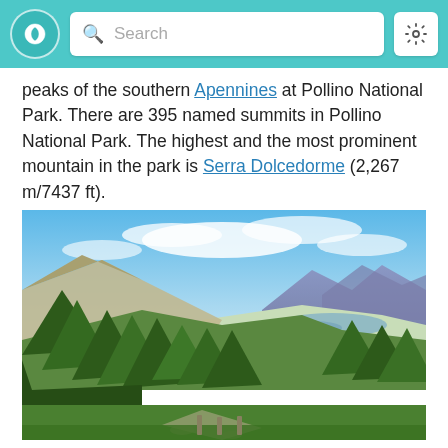Search
peaks of the southern Apennines at Pollino National Park. There are 395 named summits in Pollino National Park. The highest and the most prominent mountain in the park is Serra Dolcedorme (2,267 m/7437 ft).
[Figure (photo): Landscape photo of Pollino National Park showing forested mountain slopes with conifer trees in the foreground, a valley and lake visible in the middle distance, and purple-hued mountains in the background under a blue sky with scattered clouds.]